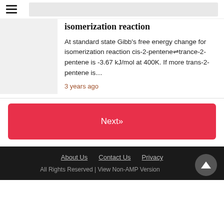isomerization reaction
At standard state Gibb's free energy change for isomerization reaction cis-2-pentene⇌trance-2-pentene is -3.67 kJ/mol at 400K. If more trans-2-pentene is…
3 years ago
Next»
About Us   Contact Us   Privacy
All Rights Reserved | View Non-AMP Version